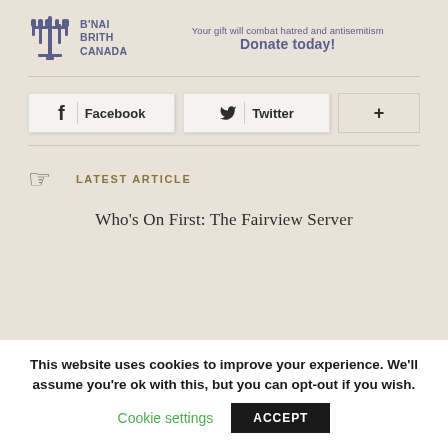[Figure (logo): B'nai Brith Canada logo with menorah icon and text B'NAI BRITH CANADA in purple/blue]
Your gift will combat hatred and antisemitism
Donate today!
[Figure (infographic): Share buttons: Facebook, Twitter, and a plus (+) button]
LATEST ARTICLE
Who's On First: The Fairview Server
This website uses cookies to improve your experience. We'll assume you're ok with this, but you can opt-out if you wish.
Cookie settings
ACCEPT